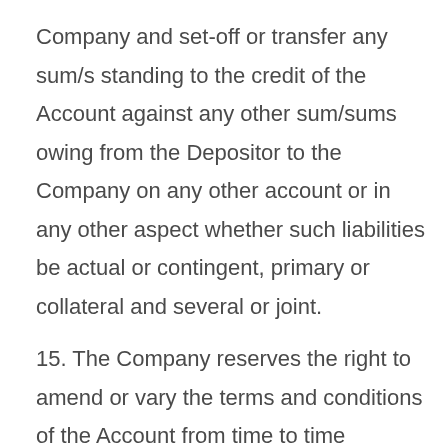Company and set-off or transfer any sum/s standing to the credit of the Account against any other sum/sums owing from the Depositor to the Company on any other account or in any other aspect whether such liabilities be actual or contingent, primary or collateral and several or joint.
15. The Company reserves the right to amend or vary the terms and conditions of the Account from time to time whereas